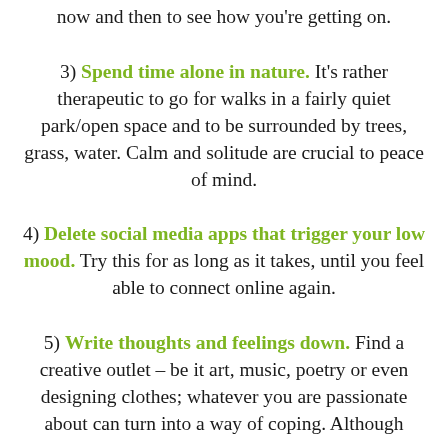now and then to see how you're getting on.
3) Spend time alone in nature. It's rather therapeutic to go for walks in a fairly quiet park/open space and to be surrounded by trees, grass, water. Calm and solitude are crucial to peace of mind.
4) Delete social media apps that trigger your low mood. Try this for as long as it takes, until you feel able to connect online again.
5) Write thoughts and feelings down. Find a creative outlet – be it art, music, poetry or even designing clothes; whatever you are passionate about can turn into a way of coping. Although